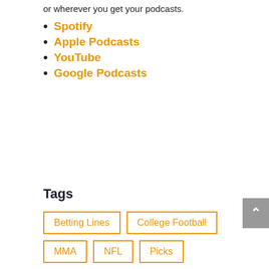or wherever you get your podcasts.
Spotify
Apple Podcasts
YouTube
Google Podcasts
Tags
Betting Lines
College Football
MMA
NFL
Picks
Sports Betting